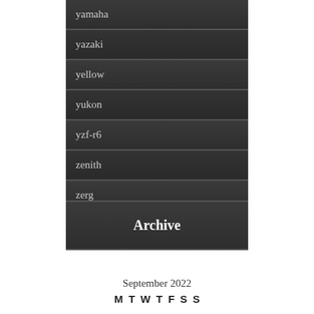yamaha
yazaki
yellow
yukon
yzf-r6
zenith
zerg
zero
Archive
September 2022
M T W T F S S